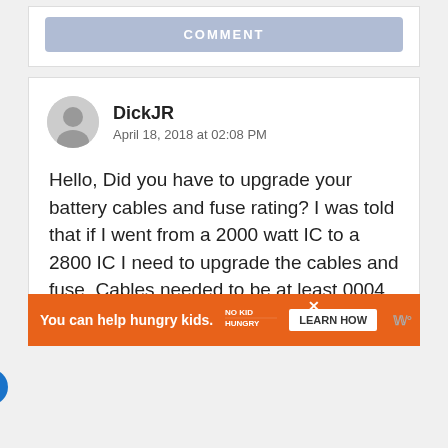COMMENT
DickJR
April 18, 2018 at 02:08 PM
Hello, Did you have to upgrade your battery cables and fuse rating? I was told that if I went from a 2000 watt IC to a 2800 IC I need to upgrade the cables and fuse. Cables needed to be at least 0004. Any thoughts on this?
You can help hungry kids.  NO KID HUNGRY  LEARN HOW